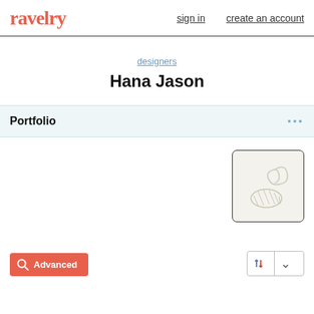ravelry | sign in | create an account
designers
Hana Jason
Portfolio
[Figure (illustration): Yarn ball and crochet hook illustration on a cream background, inside a rounded square border]
Advanced
[Figure (other): Sort button with sort icon and dropdown chevron]